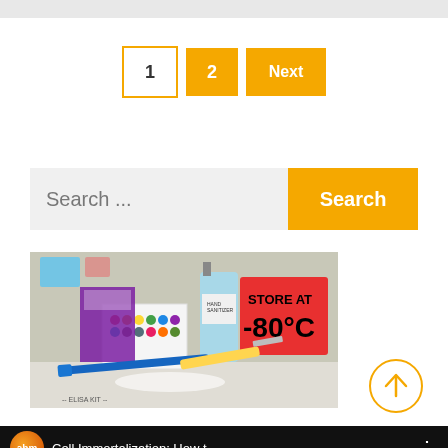[Figure (screenshot): Pagination buttons showing '1' (outlined), '2' (filled yellow), 'Next' (filled yellow)]
[Figure (screenshot): Search bar with placeholder 'Search ...' and yellow 'Search' button]
[Figure (photo): Laboratory photo showing various reagents, an ELISA kit with colorful dots, a blue pen, syringes, and a red sign reading 'STORE AT -80°C']
[Figure (screenshot): Scroll-to-top button: circle with upward arrow in yellow outline]
[Figure (screenshot): Video thumbnail with ABM orange logo and title 'Cell Immortalization: How t...' on black background with three-dot menu]